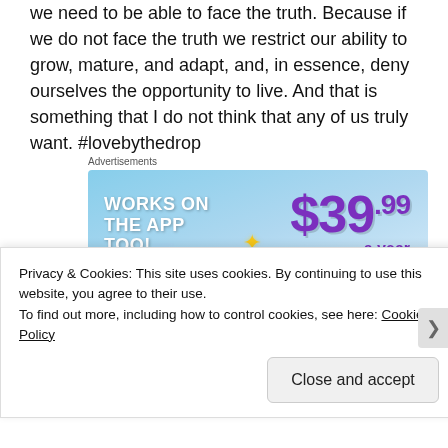we need to be able to face the truth. Because if we do not face the truth we restrict our ability to grow, mature, and adapt, and, in essence, deny ourselves the opportunity to live. And that is something that I do not think that any of us truly want. #lovebythedrop
Advertisements
[Figure (illustration): Tumblr ad showing a stylized Tumblr 't' logo with sparkle stars on a blue sky background. Text reads: WORKS ON THE APP TOO! $39.99 a year or $4.99 a month + FREE SHIPPING]
Privacy & Cookies: This site uses cookies. By continuing to use this website, you agree to their use.
To find out more, including how to control cookies, see here: Cookie Policy
Close and accept